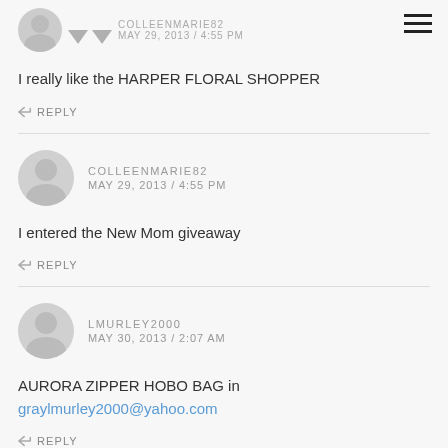COLLEENMARIE82 MAY 29, 2013 / 4:55 PM (partial top comment)
I really like the HARPER FLORAL SHOPPER
REPLY
COLLEENMARIE82 MAY 29, 2013 / 4:55 PM
I entered the New Mom giveaway
REPLY
LMURLEY2000 MAY 30, 2013 / 2:07 AM
AURORA ZIPPER HOBO BAG in graylmurley2000@yahoo.com
REPLY